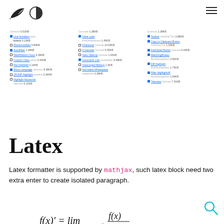Bird logo, half-circle icon, hamburger menu
[Figure (screenshot): Plugin list with checkboxes, plugin names (links), authors, file sizes across three columns. Includes: Line Numbers, ShowInvisibles, Autolinker, WebPlatform Docs, Custom Class, File Highlight, Show Language, JSONP Highlight, Highlight Keywords (col1); Inline color, Findwords, A-robuster, Nairu Markup, Command Line, Unescaped Markup, Normalize Whitespace (col2); Toolbar, Copy to Clipboard Button, Download Button, MatchingBraces, Diff Highlight, Filter HighlightAll, Treeview (col3)]
Latex
Latex formatter is supported by mathjax, such latex block need two extra enter to create isolated paragraph.